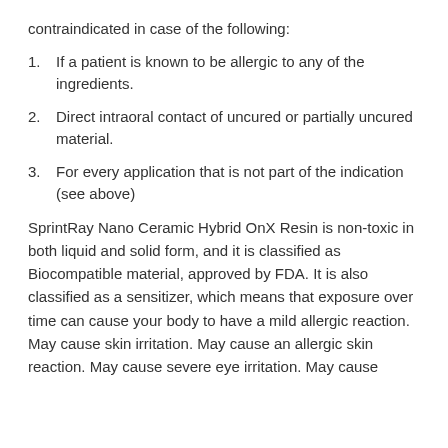contraindicated in case of the following:
If a patient is known to be allergic to any of the ingredients.
Direct intraoral contact of uncured or partially uncured material.
For every application that is not part of the indication (see above)
SprintRay Nano Ceramic Hybrid OnX Resin is non-toxic in both liquid and solid form, and it is classified as Biocompatible material, approved by FDA. It is also classified as a sensitizer, which means that exposure over time can cause your body to have a mild allergic reaction. May cause skin irritation. May cause an allergic skin reaction. May cause severe eye irritation. May cause